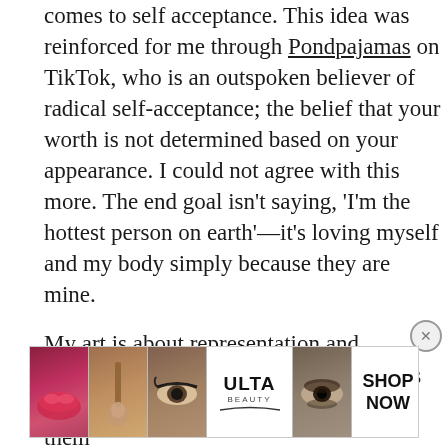comes to self acceptance. This idea was reinforced for me through Pondpajamas on TikTok, who is an outspoken believer of radical self-acceptance; the belief that your worth is not determined based on your appearance. I could not agree with this more. The end goal isn't saying, 'I'm the hottest person on earth'—it's loving myself and my body simply because they are mine.

My art is about representation and normalization; I'm making art of all sorts of bodies simply because we don't see them enough. When others view my creations, I
[Figure (photo): Ulta Beauty advertisement banner showing close-up photos of makeup looks (lips, brush, eyes, smoky eye) with the Ulta Beauty logo in the center and 'SHOP NOW' text on the right.]